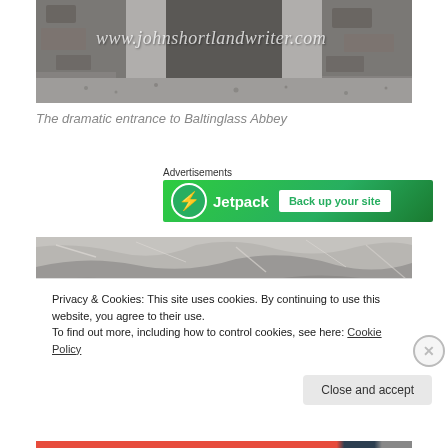[Figure (photo): Dramatic stone entrance to Baltinglass Abbey with large stone pillars and gravel ground, with watermark text www.johnshortlandwriter.com]
The dramatic entrance to Baltinglass Abbey
Advertisements
[Figure (screenshot): Jetpack advertisement banner: green background with Jetpack logo and 'Back up your site' call to action]
[Figure (photo): Stone wall texture photo, partially obscured by cookie notice overlay]
Privacy & Cookies: This site uses cookies. By continuing to use this website, you agree to their use.
To find out more, including how to control cookies, see here: Cookie Policy
Close and accept